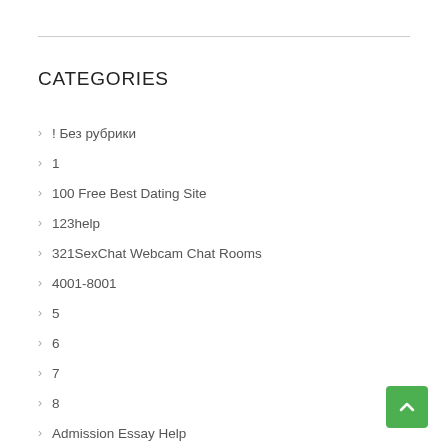CATEGORIES
! Без рубрики
1
100 Free Best Dating Site
123help
321SexChat Webcam Chat Rooms
4001-8001
5
6
7
8
Admission Essay Help
Adulthookups Webcam Chat
advance payday loan